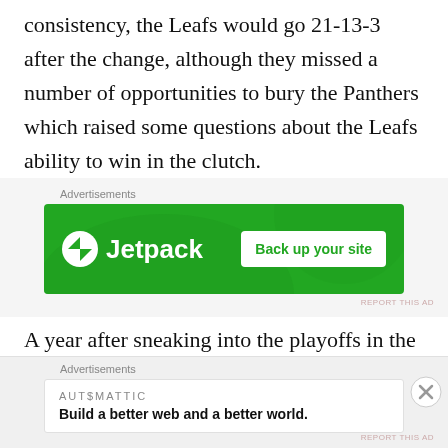consistency, the Leafs would go 21-13-3 after the change, although they missed a number of opportunities to bury the Panthers which raised some questions about the Leafs ability to win in the clutch.
[Figure (other): Jetpack advertisement banner with green background showing Jetpack logo and 'Back up your site' button]
A year after sneaking into the playoffs in the final wildcard spot, the Blue Jackets looked to be in
[Figure (other): Automattic advertisement with text 'Build a better web and a better world.']